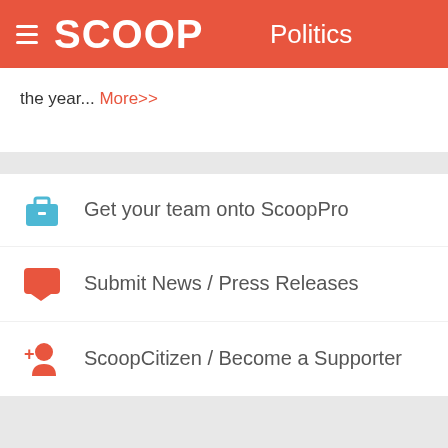SCOOP Politics
the year... More>>
Get your team onto ScoopPro
Submit News / Press Releases
ScoopCitizen / Become a Supporter